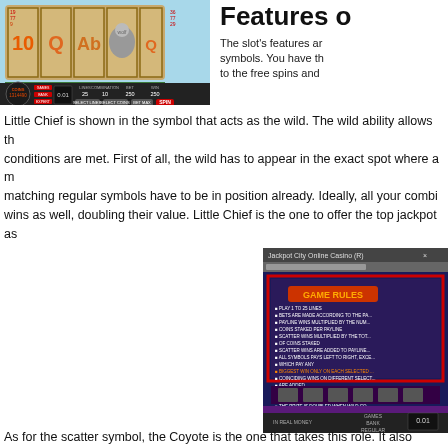[Figure (screenshot): Screenshot of a slot machine game interface showing reels with symbols including '10', 'Q', 'A', and a wolf/bear symbol. Control panel below shows games, lines, coins, bet, win fields and buttons for select lines, select coins, bet max, and spin.]
Features o
The slot's features ar... symbols. You have th... to the free spins and...
Little Chief is shown in the symbol that acts as the wild. The wild ability allows th... conditions are met. First of all, the wild has to appear in the exact spot where a m... matching regular symbols have to be in position already. Ideally, all your combi... wins as well, doubling their value. Little Chief is the one to offer the top jackpot as...
[Figure (screenshot): Screenshot of an online casino game rules window showing 'GAME RULES' header with text listing rules about lines, paylines, scatter wins, etc. Bottom shows game controls.]
As for the scatter symbol, the Coyote is the one that takes this role. It also...